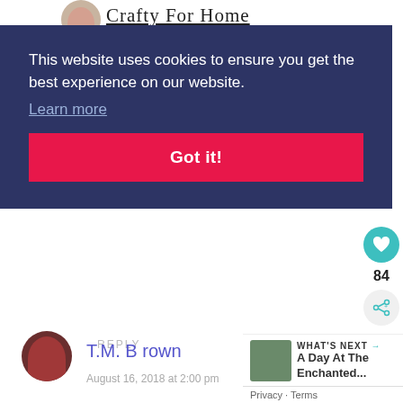Crafty For Home
This website uses cookies to ensure you get the best experience on our website. Learn more
Got it!
REPLY
84
T.M. Brown
August 16, 2018 at 2:00 pm
WHAT'S NEXT → A Day At The Enchanted...
Privacy · Terms